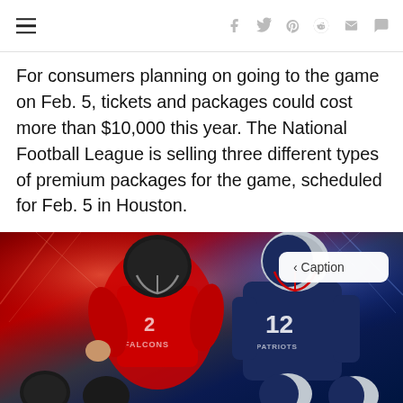Navigation and social share bar with hamburger menu, facebook, twitter, pinterest, reddit, email, comment icons
For consumers planning on going to the game on Feb. 5, tickets and packages could cost more than $10,000 this year. The National Football League is selling three different types of premium packages for the game, scheduled for Feb. 5 in Houston.
[Figure (photo): Promotional image of two NFL quarterbacks: an Atlanta Falcons player in red jersey on the left and a New England Patriots player (number 12) on a blue background on the right, with stadium lights and team colors in the background. Small helmet images visible at the bottom. A 'Caption' button appears in the top right of the image.]